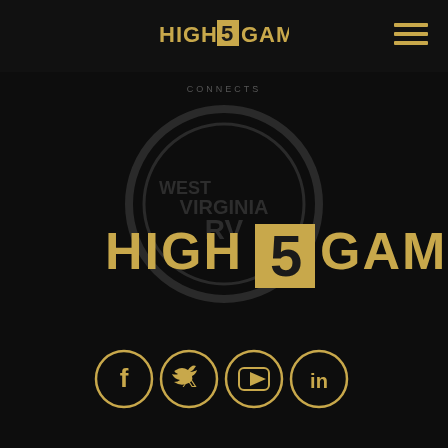[Figure (logo): High 5 Games logo in gold on dark nav bar, top center]
[Figure (logo): Hamburger menu icon (three gold lines) top right]
CONNECTS
[Figure (logo): Large High 5 Games logo centered on dark background with West Virginia RV watermark circle behind it]
[Figure (infographic): Four social media icons in gold circles: Facebook, Twitter, YouTube, LinkedIn]